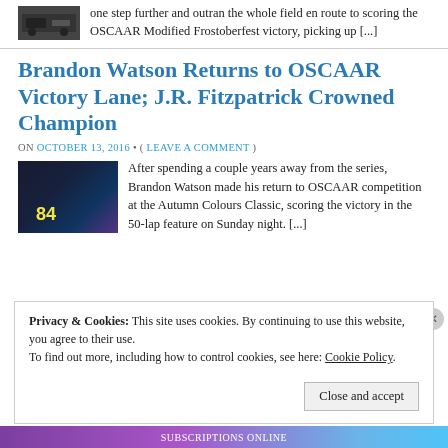one step further and outran the whole field en route to scoring the OSCAAR Modified Frostoberfest victory, picking up [...]
Brandon Watson Returns to OSCAAR Victory Lane; J.R. Fitzpatrick Crowned Champion
ON OCTOBER 13, 2016 • ( LEAVE A COMMENT )
[Figure (photo): Racing car number 84 in victory lane at night with people standing beside it]
After spending a couple years away from the series, Brandon Watson made his return to OSCAAR competition at the Autumn Colours Classic, scoring the victory in the 50-lap feature on Sunday night. [...]
Privacy & Cookies: This site uses cookies. By continuing to use this website, you agree to their use. To find out more, including how to control cookies, see here: Cookie Policy
Close and accept